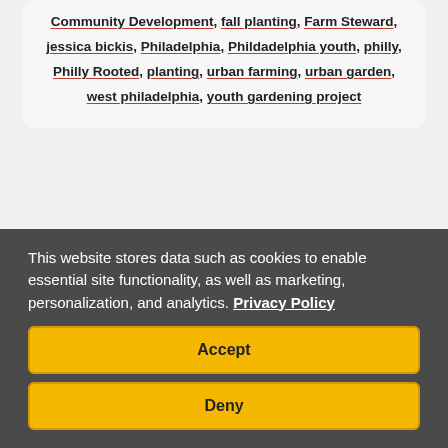Community Development, fall planting, Farm Steward, jessica bickis, Philadelphia, Phildadelphia youth, philly, Philly Rooted, planting, urban farming, urban garden, west philadelphia, youth gardening project
This website stores data such as cookies to enable essential site functionality, as well as marketing, personalization, and analytics. Privacy Policy
Accept
Deny